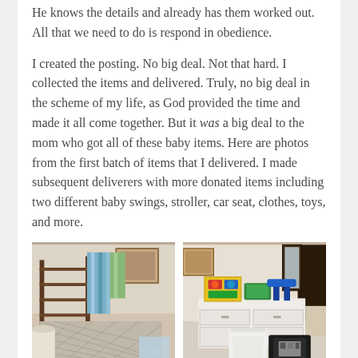He knows the details and already has them worked out. All that we need to do is respond in obedience.
I created the posting. No big deal. Not that hard. I collected the items and delivered. Truly, no big deal in the scheme of my life, as God provided the time and made it all come together. But it was a big deal to the mom who got all of these baby items. Here are photos from the first batch of items that I delivered. I made subsequent deliverers with more donated items including two different baby swings, stroller, car seat, clothes, toys, and more.
[Figure (photo): Photo of baby/children items including what appears to be a crib or rocking chair with mesh sides, blankets, and other items collected for donation]
[Figure (photo): Photo of baby items on a white dresser including colorful activity cube toy, blue step stool, a white bucket/basket, and a car seat on the floor]